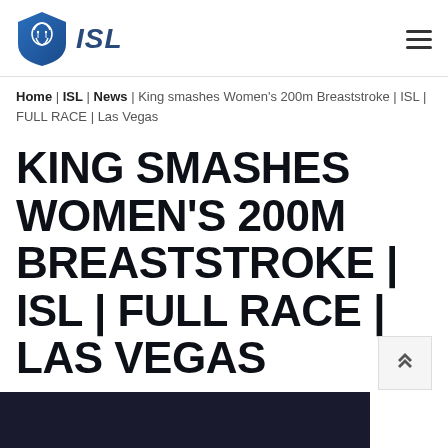ISL
Home | ISL | News | King smashes Women's 200m Breaststroke | ISL | FULL RACE | Las Vegas
KING SMASHES WOMEN'S 200M BREASTSTROKE | ISL | FULL RACE | LAS VEGAS
2020/02/12
[Figure (photo): Dark image at the bottom of the page, appears to be a swimming event photo]